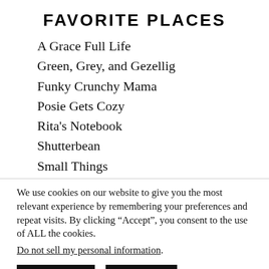FAVORITE PLACES
A Grace Full Life
Green, Grey, and Gezellig
Funky Crunchy Mama
Posie Gets Cozy
Rita's Notebook
Shutterbean
Small Things
We use cookies on our website to give you the most relevant experience by remembering your preferences and repeat visits. By clicking “Accept”, you consent to the use of ALL the cookies.
Do not sell my personal information.
Settings   Accept